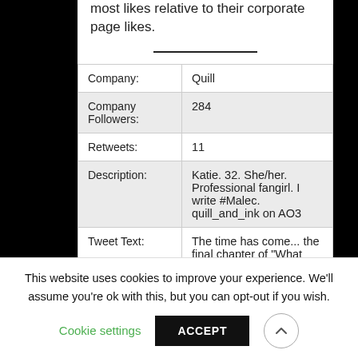most likes relative to their corporate page likes.
| Company: | Quill |
| Company Followers: | 284 |
| Retweets: | 11 |
| Description: | Katie. 32. She/her. Professional fangirl. I write #Malec. quill_and_ink on AO3 |
| Tweet Text: | The time has come... the final chapter of "What Does It Mean To You?" has been posted. I am so in love with this fi... |
This website uses cookies to improve your experience. We'll assume you're ok with this, but you can opt-out if you wish.
Cookie settings
ACCEPT